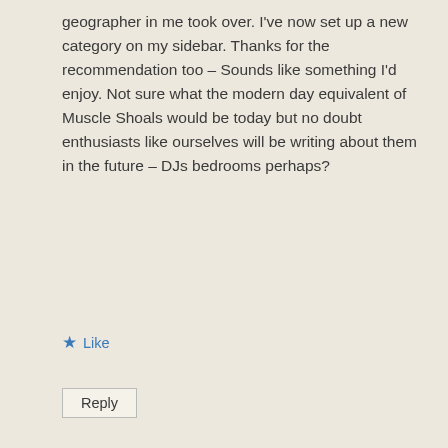geographer in me took over. I've now set up a new category on my sidebar. Thanks for the recommendation too – Sounds like something I'd enjoy. Not sure what the modern day equivalent of Muscle Shoals would be today but no doubt enthusiasts like ourselves will be writing about them in the future – DJs bedrooms perhaps?
★ Like
Reply
Graeme Walker
January 8, 2022 at 1:48 pm